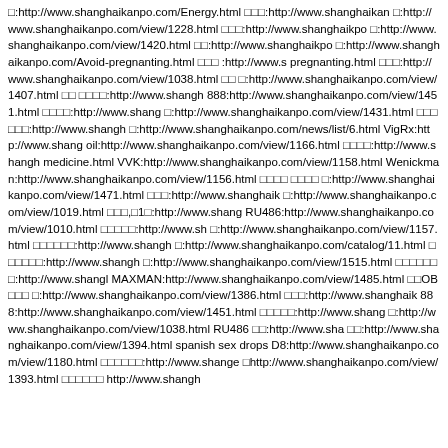□:http://www.shanghaikanpo.com/Energy.html □□□:http://www.shanghaikan □:http://www.shanghaikanpo.com/view/1228.html □□□:http://www.shanghaikpo □:http://www.shanghaikanpo.com/view/1420.html □□:http://www.shanghaikpo □:http://www.shanghaikanpo.com/Avoid-pregnanting.html □□□ :http://www.s pregnanting.html □□□:http://www.shanghaikanpo.com/view/1038.html □□ □:http://www.shanghaikanpo.com/view/1407.html □□ □□□□:http://www.shangh 888:http://www.shanghaikanpo.com/view/1451.html □□□□:http://www.shang □:http://www.shanghaikanpo.com/view/1431.html □□□□□□:http://www.shangh □:http://www.shanghaikanpo.com/news/list/6.html VigRx:http://www.shang oil:http://www.shanghaikanpo.com/view/1166.html □□□□:http://www.shangh medicine.html VVK:http://www.shanghaikanpo.com/view/1158.html Wenickman:http://www.shanghaikanpo.com/view/1156.html □□□□ □□□□ □:http://www.shanghaikanpo.com/view/1471.html □□□:http://www.shanghaik □:http://www.shanghaikanpo.com/view/1019.html □□□,□1□:http://www.shang RU486:http://www.shanghaikanpo.com/view/1010.html □□□□□:http://www.sh □:http://www.shanghaikanpo.com/view/1157.html □□□□□□:http://www.shangh □:http://www.shanghaikanpo.com/catalog/11.html □□□□□□:http://www.shangh □:http://www.shanghaikanpo.com/view/1515.html □□□□□□□:http://www.shangl MAXMAN:http://www.shanghaikanpo.com/view/1485.html □□OB□□□ □:http://www.shanghaikanpo.com/view/1386.html □□□:http://www.shanghaik 888:http://www.shanghaikanpo.com/view/1451.html □□□□□:http://www.shang □:http://www.shanghaikanpo.com/view/1038.html RU486 □□:http://www.sha □□:http://www.shanghaikanpo.com/view/1394.html spanish sex drops D8:http://www.shanghaikanpo.com/view/1180.html □□□□□□:http://www.shange □http://www.shanghaikanpo.com/view/1393.html □□□□□□ http://www.shangh